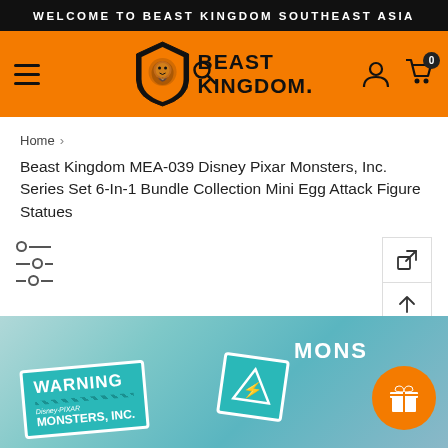WELCOME TO BEAST KINGDOM SOUTHEAST ASIA
[Figure (logo): Beast Kingdom logo with lion shield emblem and text BEAST KINGDOM. on orange navigation bar with hamburger menu, search, account and cart icons]
Home >
Beast Kingdom MEA-039 Disney Pixar Monsters, Inc. Series Set 6-In-1 Bundle Collection Mini Egg Attack Figure Statues
[Figure (photo): Product image showing Monsters Inc. warning sign collectibles with teal/blue coloring, text WARNING and Disney Pixar Monsters Inc. visible, partial MONS text on right side]